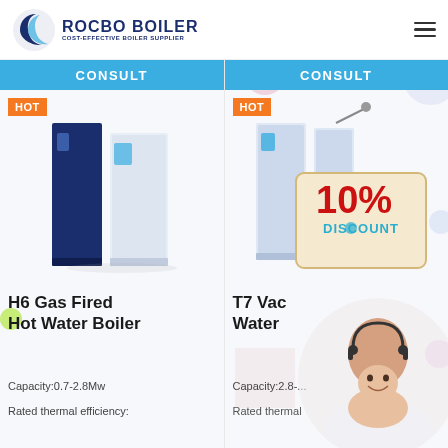[Figure (logo): Rocbo Boiler logo with crescent moon icon and text 'ROCBO BOILER - COST-EFFECTIVE BOILER SUPPLIER']
CONSULT
CONSULT
HOT
HOT
[Figure (photo): H6 Gas Fired Hot Water Boiler product image - dark blue and white tall unit]
[Figure (photo): T7 Vacuum Hot Water Boiler product image with 10% discount badge overlay]
H6 Gas Fired Hot Water Boiler
T7 Vac... Water...
Capacity:0.7-2.8Mw
Capacity:2.8-...
Rated thermal efficiency:
Rated thermal...